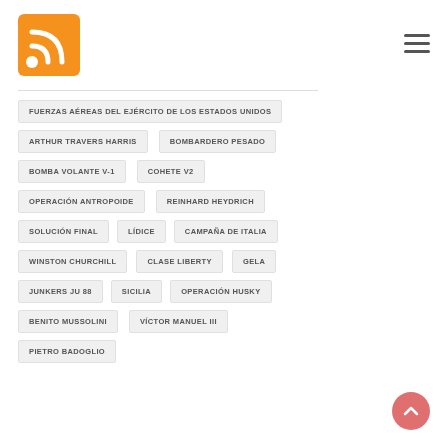[Figure (logo): Orange RSS feed icon/logo square]
[Figure (other): Hamburger menu icon (three horizontal lines)]
FUERZAS AÉREAS DEL EJÉRCITO DE LOS ESTADOS UNIDOS
ARTHUR TRAVERS HARRIS
BOMBARDERO PESADO
BOMBA VOLANTE V-1
COHETE V2
OPERACIÓN ANTROPOIDE
REINHARD HEYDRICH
SOLUCIÓN FINAL
LÍDICE
CAMPAÑA DE ITALIA
WINSTON CHURCHILL
CLASE LIBERTY
GELA
JUNKERS JU 88
SICILIA
OPERACIÓN HUSKY
BENITO MUSSOLINI
VÍCTOR MANUEL III
PIETRO BADOGLIO